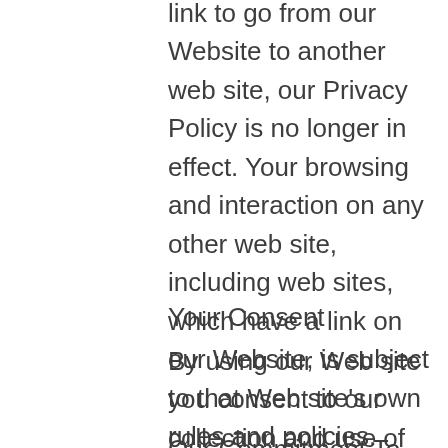link to go from our Website to another web site, our Privacy Policy is no longer in effect. Your browsing and interaction on any other web site, including web sites, which have a link on our Website, is subject to that Web site's own rules and policies. Please read over those rules and policies before proceeding.
Your Consent
By using our Web site you consent to our collection and use of your personal information as described in this Privacy Policy. We reserve the right to amend this privacy policy at any time with or without notice.
Our Commitment To Data Security